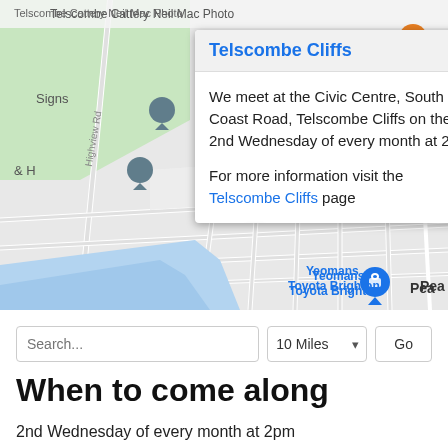[Figure (map): Google Maps screenshot showing Telscombe Cliffs area with a popup dialog. The popup is titled 'Telscombe Cliffs' and contains text: 'We meet at the Civic Centre, South Coast Road, Telscombe Cliffs on the 2nd Wednesday of every month at 2pm' and 'For more information visit the Telscombe Cliffs page'. The map shows streets, coastline, and various location markers including The Tavern Telscombe Cliffs, Yeomans Toyota Brighton, The Peacehaven, and other landmarks.]
Search...
10 Miles
Go
When to come along
2nd Wednesday of every month at 2pm